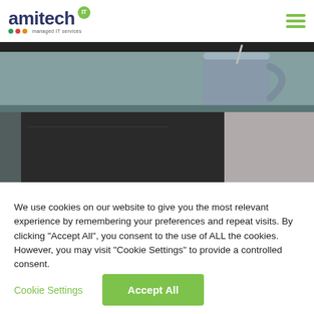[Figure (logo): Amitech IT logo with green IT badge, colored dots and 'managed IT services' tagline]
[Figure (photo): Photo of a gray mug on a teal/gray sofa cushion with a laptop in the foreground, dark and light panels]
We use cookies on our website to give you the most relevant experience by remembering your preferences and repeat visits. By clicking "Accept All", you consent to the use of ALL the cookies. However, you may visit "Cookie Settings" to provide a controlled consent.
Cookie Settings
Accept All